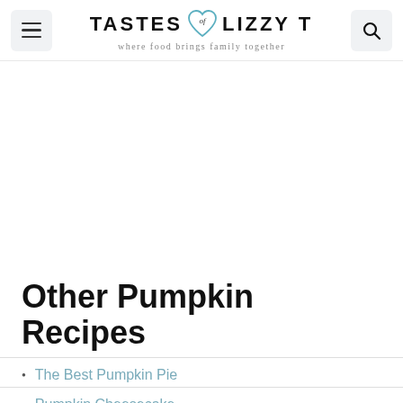TASTES of LIZZY T — where food brings family together
[Figure (other): Advertisement / blank content area]
Other Pumpkin Recipes
The Best Pumpkin Pie
Pumpkin Cheesecake